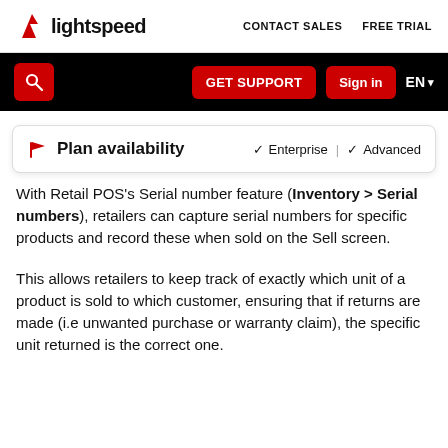lightspeed  CONTACT SALES  FREE TRIAL
[Figure (screenshot): Black toolbar with red search button, GET SUPPORT button, Sign in button, and EN language selector]
Plan availability  ✔ Enterprise | ✔ Advanced
With Retail POS's Serial number feature (Inventory > Serial numbers), retailers can capture serial numbers for specific products and record these when sold on the Sell screen.
This allows retailers to keep track of exactly which unit of a product is sold to which customer, ensuring that if returns are made (i.e unwanted purchase or warranty claim), the specific unit returned is the correct one.